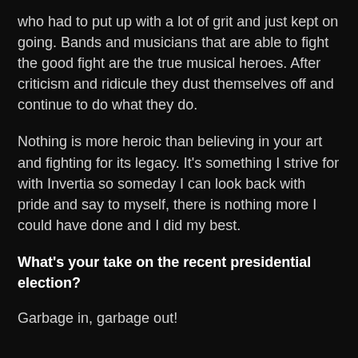who had to put up with a lot of grit and just kept on going. Bands and musicians that are able to fight the good fight are the true musical heroes. After criticism and ridicule they dust themselves off and continue to do what they do.
Nothing is more heroic than believing in your art and fighting for its legacy. It's something I strive for with Invertia so someday I can look back with pride and say to myself, there is nothing more I could have done and I did my best.
What's your take on the recent presidential election?
Garbage in, garbage out!